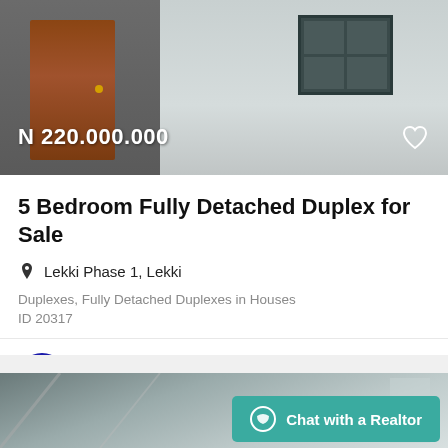[Figure (photo): Exterior photo of a detached duplex with brown door, grey walls, and dark window. Price N 220.000.000 overlaid on lower left. Heart icon on lower right.]
5 Bedroom Fully Detached Duplex for Sale
Lekki Phase 1, Lekki
Duplexes, Fully Detached Duplexes in Houses
ID 20317
Gumbull Realty
[Figure (photo): Partial photo of another property listing below, cut off. Teal chat button overlaid: Chat with a Realtor]